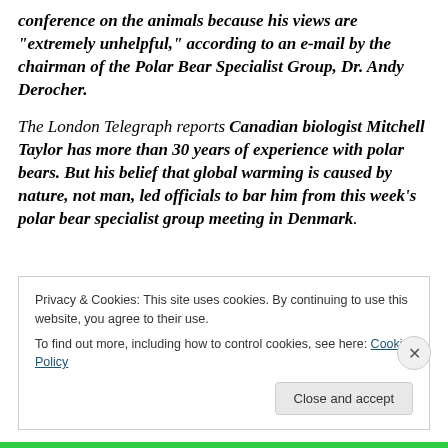conference on the animals because his views are "extremely unhelpful," according to an e-mail by the chairman of the Polar Bear Specialist Group, Dr. Andy Derocher.
The London Telegraph reports Canadian biologist Mitchell Taylor has more than 30 years of experience with polar bears. But his belief that global warming is caused by nature, not man, led officials to bar him from this week's polar bear specialist group meeting in Denmark.
Privacy & Cookies: This site uses cookies. By continuing to use this website, you agree to their use.
To find out more, including how to control cookies, see here: Cookie Policy